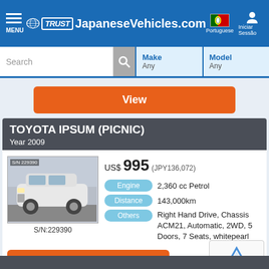MENU | TRUST JapaneseVehicles.com | Portuguese | Iniciar Sessão
Search | Make Any | Model Any
View
TOYOTA IPSUM (PICNIC)
Year 2009
[Figure (photo): White Toyota Ipsum (Picnic) vehicle photo, S/N:229390]
S/N:229390
US$ 995 (JPY136,072)
Engine 2,360 cc Petrol
Distance 143,000km
Others Right Hand Drive, Chassis ACM21, Automatic, 2WD, 5 Doors, 7 Seats, whitepearl
View